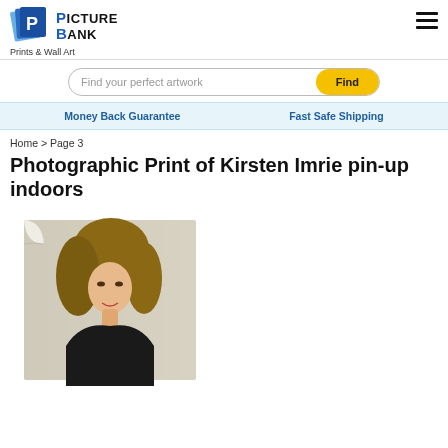Picture Bank — Prints & Wall Art
Find your perfect artwork
Money Back Guarantee   Fast Safe Shipping
Home > Page 3
Photographic Print of Kirsten Imrie pin-up indoors
[Figure (photo): Photographic print of Kirsten Imrie, a woman with voluminous curly blonde-brown hair, wearing a black top, posed indoors against a light background. The image has a curled corner effect at top-left.]